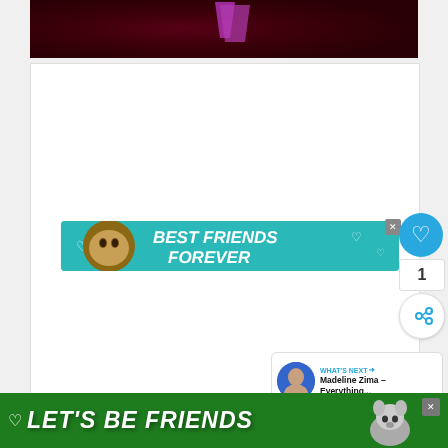[Figure (photo): Dark reddish-purple photo with a purple triangular shape visible, appears to be a concert or event scene]
[Figure (advertisement): Teal/turquoise banner ad with a cat illustration and text BEST FRIENDS FOREVER in white bold italic letters, with heart decorations]
[Figure (infographic): WHAT'S NEXT panel with a woman's photo avatar and text 'Madeline Zima – Everything...']
[Figure (advertisement): Green banner ad at the bottom with text LET'S BE FRIENDS and a dog illustration, with a heart icon]